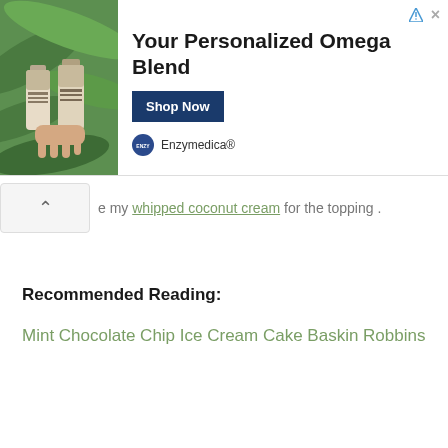[Figure (photo): Advertisement banner showing two supplement bottles held up against tropical green foliage background, with Enzymedica brand logo and 'Your Personalized Omega Blend' text and 'Shop Now' button]
e my whipped coconut cream for the topping .
Recommended Reading:
Mint Chocolate Chip Ice Cream Cake Baskin Robbins